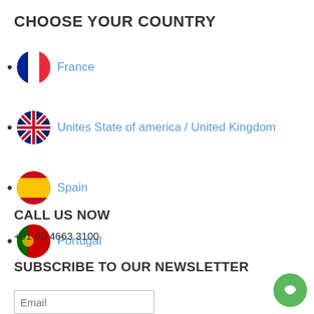CHOOSE YOUR COUNTRY
France
Unites State of america / United Kingdom
Spain
Portugal
CALL US NOW
+91 80 4663 3100
SUBSCRIBE TO OUR NEWSLETTER
Email